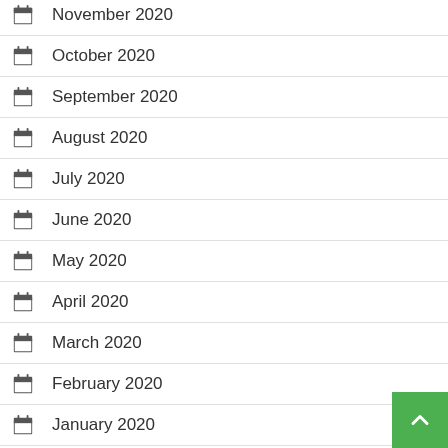November 2020
October 2020
September 2020
August 2020
July 2020
June 2020
May 2020
April 2020
March 2020
February 2020
January 2020
December 2019
October 2019